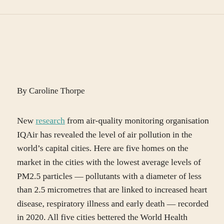By Caroline Thorpe
New research from air-quality monitoring organisation IQAir has revealed the level of air pollution in the world's capital cities. Here are five homes on the market in the cities with the lowest average levels of PM2.5 particles — pollutants with a diameter of less than 2.5 micrometres that are linked to increased heart disease, respiratory illness and early death — recorded in 2020. All five cities bettered the World Health Organization's